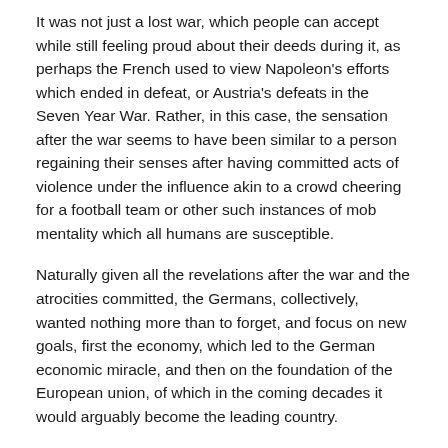It was not just a lost war, which people can accept while still feeling proud about their deeds during it, as perhaps the French used to view Napoleon's efforts which ended in defeat, or Austria's defeats in the Seven Year War. Rather, in this case, the sensation after the war seems to have been similar to a person regaining their senses after having committed acts of violence under the influence akin to a crowd cheering for a football team or other such instances of mob mentality which all humans are susceptible.
Naturally given all the revelations after the war and the atrocities committed, the Germans, collectively, wanted nothing more than to forget, and focus on new goals, first the economy, which led to the German economic miracle, and then on the foundation of the European union, of which in the coming decades it would arguably become the leading country.